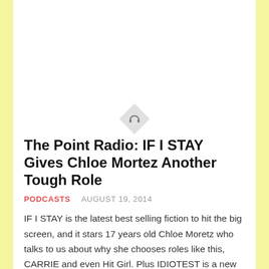[Figure (other): Headphone icon inside a diamond/rotated square shape, light gray background]
The Point Radio: IF I STAY Gives Chloe Mortez Another Tough Role
PODCASTS    AUGUST 19, 2014
IF I STAY is the latest best selling fiction to hit the big screen, and it stars 17 years old Chloe Moretz who talks to us about why she chooses roles like this, CARRIE and even Hit Girl. Plus IDIOTEST is a new competition show on the Game Show Network and host Ben Gleib proves to me that it isn't all that easy to win there.
[Figure (screenshot): Dark/black video thumbnail at bottom of page]